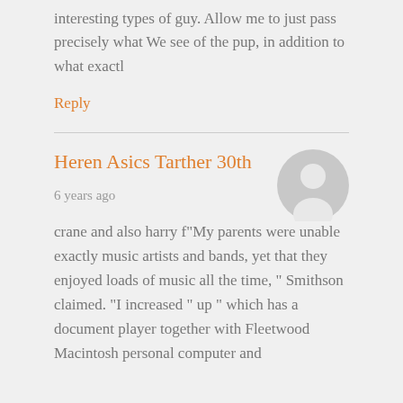interesting types of guy. Allow me to just pass precisely what We see of the pup, in addition to what exactl
Reply
Heren Asics Tarther 30th
6 years ago
[Figure (illustration): Gray circular avatar placeholder with silhouette of a person]
crane and also harry f"My parents were unable exactly music artists and bands, yet that they enjoyed loads of music all the time, " Smithson claimed. "I increased " up " which has a document player together with Fleetwood Macintosh personal computer and